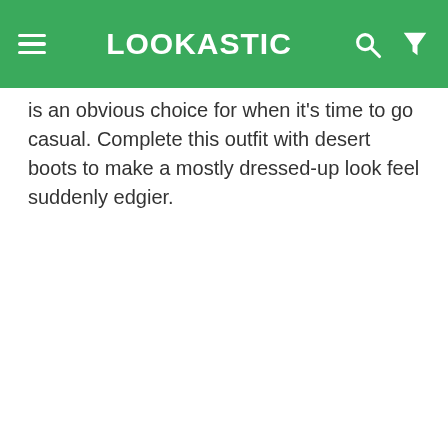LOOKASTIC
is an obvious choice for when it's time to go casual. Complete this outfit with desert boots to make a mostly dressed-up look feel suddenly edgier.